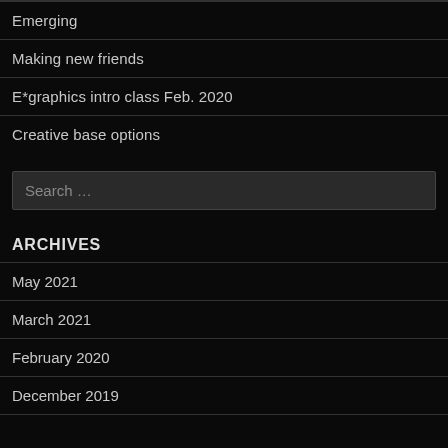Emerging
Making new friends
E*graphics intro class Feb. 2020
Creative base options
Search …
ARCHIVES
May 2021
March 2021
February 2020
December 2019